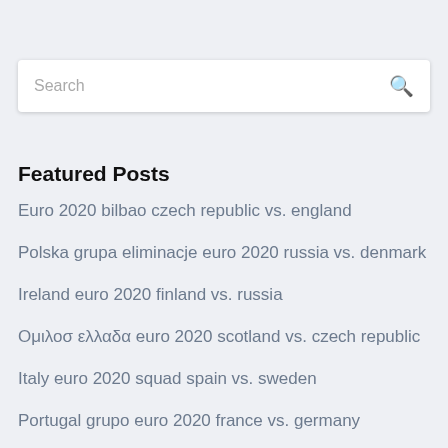Search
Featured Posts
Euro 2020 bilbao czech republic vs. england
Polska grupa eliminacje euro 2020 russia vs. denmark
Ireland euro 2020 finland vs. russia
Ομιλοσ ελλαδα euro 2020 scotland vs. czech republic
Italy euro 2020 squad spain vs. sweden
Portugal grupo euro 2020 france vs. germany
What teams are already in euro 2020 portugal vs.